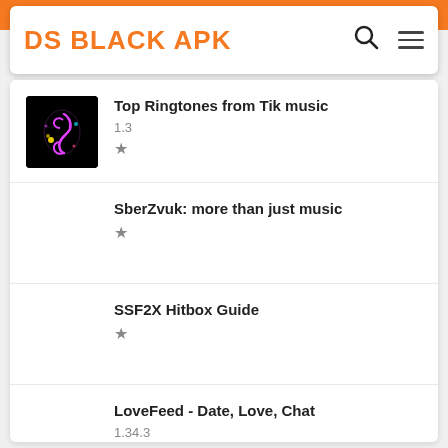DS BLACK APK
Top Ringtones from Tik music | 1.3 | ★
SberZvuk: more than just music | ★
SSF2X Hitbox Guide | ★
LoveFeed - Date, Love, Chat | 1.34.3 | ★ 6.0